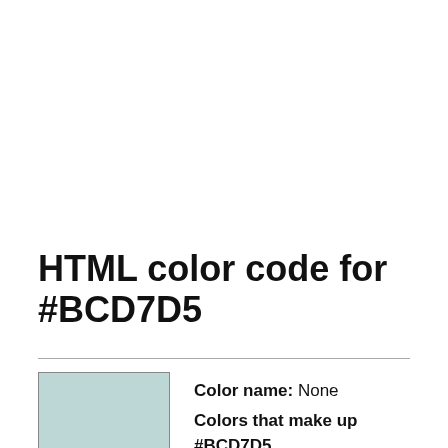HTML color code for #BCD7D5
[Figure (illustration): A square color swatch filled with color #BCD7D5 (a light teal/mint color), with a thin dark border.]
Color name: None
Colors that make up #BCD7D5
RGB: 188, 215, 213 - HSL: 0.49, 0.25, 0.79